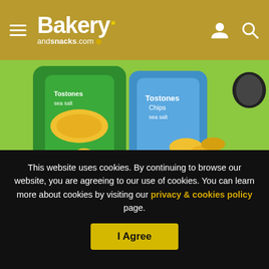Bakery andsnacks.com
[Figure (photo): Plantain and veggie crisps snack products in white bowls with green and blue packaging bags]
Small Ecuadorian snack producer leads the charge with carbon negative plantain and veggie crisps
This website uses cookies. By continuing to browse our website, you are agreeing to our use of cookies. You can learn more about cookies by visiting our privacy & cookies policy page.